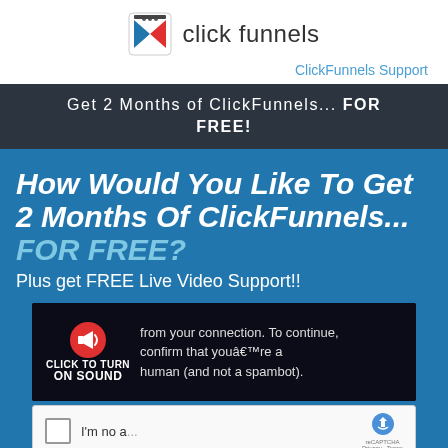[Figure (logo): ClickFunnels logo with icon and text]
ClickFunnels Support
Get 2 Months of ClickFunnels... FOR FREE!
How Would You Like To Get 2 Months Of ClickFunnels... FOR FREE?
Plus get FREE Live Video Support!!
[Figure (screenshot): Video player with CLICK TO TURN ON SOUND button overlay and CAPTCHA verification text: from your connection. To continue, confirm that you're a human (and not a spambot).]
[Figure (screenshot): reCAPTCHA checkbox widget with 'I'm not a...' label and reCAPTCHA logo]